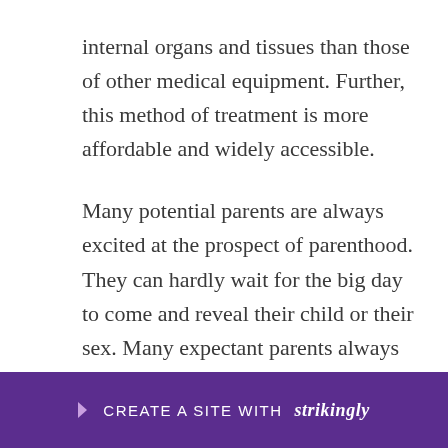internal organs and tissues than those of other medical equipment. Further, this method of treatment is more affordable and widely accessible.
Many potential parents are always excited at the prospect of parenthood. They can hardly wait for the big day to come and reveal their child or their sex. Many expectant parents always want to plan in advance by preparing the baby nursery, buying clothing, feeders and toys. Knowing the child’s sex in advance helps them in planning and cloth shopping. Nonetheless, the fetus sex iden[tification depends on the quality o]f the ultra[sound machine used i]n
CREATE A SITE WITH strikingly